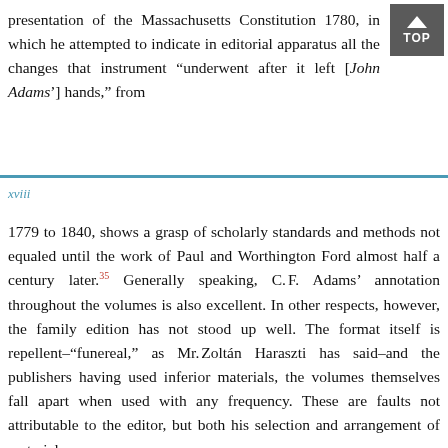presentation of the Massachusetts Constitution 1780, in which he attempted to indicate in editorial apparatus all the changes that instrument "underwent after it left [John Adams'] hands," from
xviii
1779 to 1840, shows a grasp of scholarly standards and methods not equaled until the work of Paul and Worthington Ford almost half a century later.35 Generally speaking, C. F. Adams' annotation throughout the volumes is also excellent. In other respects, however, the family edition has not stood up well. The format itself is repellent—"funereal," as Mr. Zoltán Haraszti has said—and the publishers having used inferior materials, the volumes themselves fall apart when used with any frequency. These are faults not attributable to the editor, but both his selection and arrangement of material are